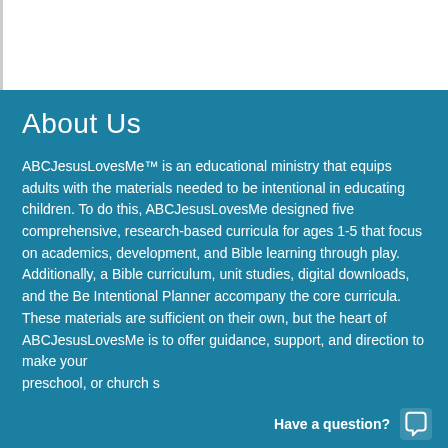About Us
ABCJesusLovesMe™ is an educational ministry that equips adults with the materials needed to be intentional in educating children. To do this, ABCJesusLovesMe designed five comprehensive, research-based curricula for ages 1-5 that focus on academics, development, and Bible learning through play. Additionally, a Bible curriculum, unit studies, digital downloads, and the Be Intentional Planner accompany the core curricula. These materials are sufficient on their own, but the heart of ABCJesusLovesMe is to offer guidance, support, and direction to make your preschool, or church s…